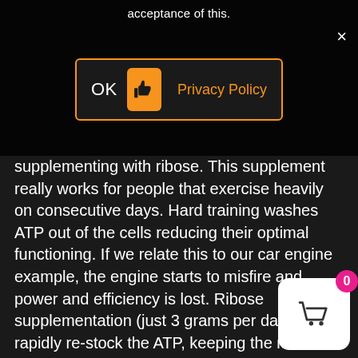acceptance of this.
[Figure (screenshot): Dialog box with OK button, thumbs-up icon button (orange), and 'Privacy Policy' link in orange, surrounded by orange border. Close (×) button in top right.]
supplementing with ribose. This supplement really works for people that exercise heavily on consecutive days. Hard training washes ATP out of the cells reducing their optimal functioning. If we relate this to our car engine example, the engine starts to misfire and power and efficiency is lost. Ribose supplementation (just 3 grams per day) will rapidly re-stock the ATP, keeping the muscular engine firing on all cylinders.
Based on this rationale, you can see how taking TORQ ribose or TORQ bars during enduro-type events can yield obvious benefits – keeping muscular contraction optimal by replacing lost ATP.
The Fuel Tank